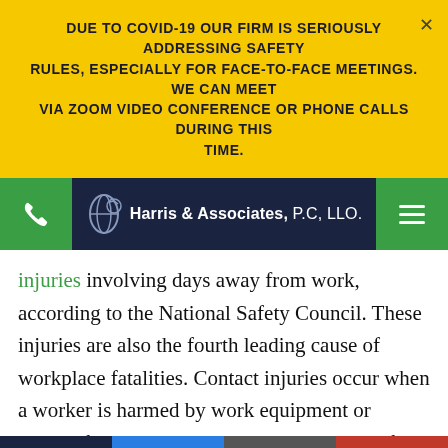DUE TO COVID-19 OUR FIRM IS SERIOUSLY ADDRESSING SAFETY RULES, ESPECIALLY FOR FACE-TO-FACE MEETINGS. WE CAN MEET VIA ZOOM VIDEO CONFERENCE OR PHONE CALLS DURING THIS TIME.
Harris & Associates, P.C, LLO.
injuries involving days away from work, according to the National Safety Council. These injuries are also the fourth leading cause of workplace fatalities. Contact injuries occur when a worker is harmed by work equipment or objects found on the job site. For example, if a worker is struck by a moving or falling object, crushed or squeezed by equipment, or caught under a collapsing structure,